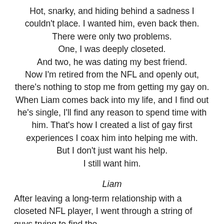Hot, snarky, and hiding behind a sadness I couldn't place. I wanted him, even back then. There were only two problems.
One, I was deeply closeted.
And two, he was dating my best friend.
Now I'm retired from the NFL and openly out, there's nothing to stop me from getting my gay on.
When Liam comes back into my life, and I find out he's single, I'll find any reason to spend time with him. That's how I created a list of gay first experiences I coax him into helping me with.
But I don't just want his help.
I still want him.
Liam
After leaving a long-term relationship with a closeted NFL player, I went through a string of guys trying to find the